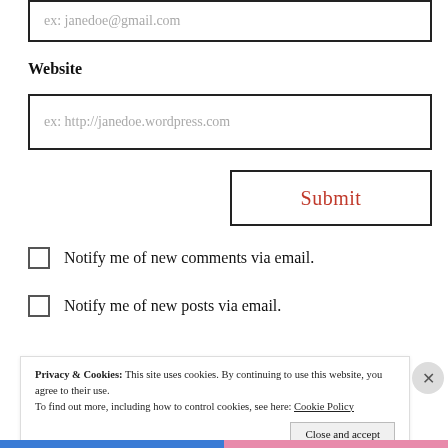ex: janedoe@gmail.com
Website
ex: http://janedoe.wordpress.com
Submit
Notify me of new comments via email.
Notify me of new posts via email.
Privacy & Cookies: This site uses cookies. By continuing to use this website, you agree to their use.
To find out more, including how to control cookies, see here: Cookie Policy
Close and accept